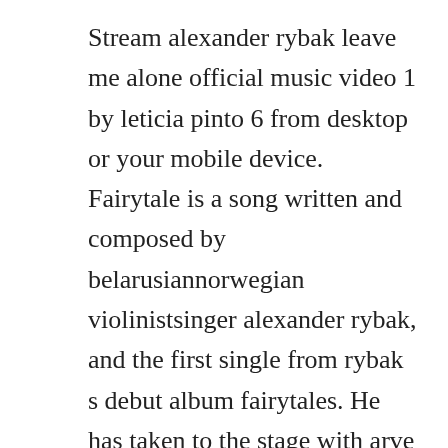Stream alexander rybak leave me alone official music video 1 by leticia pinto 6 from desktop or your mobile device. Fairytale is a song written and composed by belarusiannorwegian violinistsinger alexander rybak, and the first single from rybak s debut album fairytales. He has taken to the stage with arve tellefsen and morten harket, amongst others. Alexander igoryevich rybak born may, 1986, in minsk, byelorussian ssr is a belarusiannorwegian singersongwriter, violinist, pianist, and actor. Fairytale by